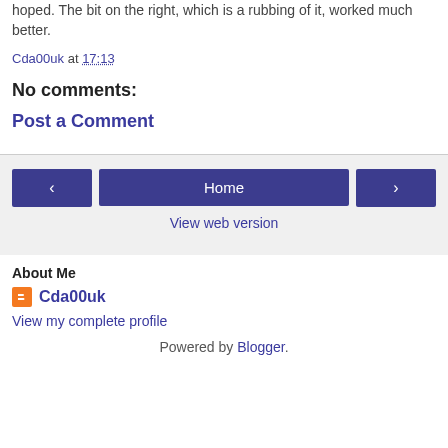hoped. The bit on the right, which is a rubbing of it, worked much better.
Cda00uk at 17:13
No comments:
Post a Comment
Home
View web version
About Me
Cda00uk
View my complete profile
Powered by Blogger.